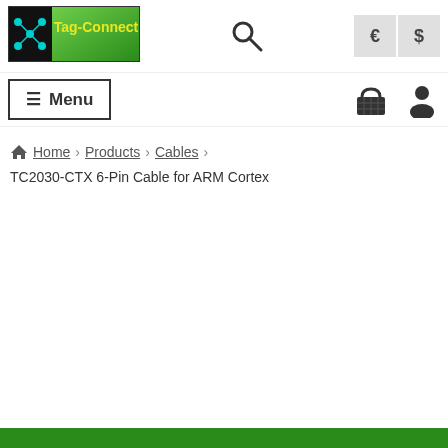[Figure (logo): Tag-Connect logo — green circuit-board style logo with teal dots and green gradient background with white text 'Tag-Connect']
Menu  € $
Home › Products › Cables › TC2030-CTX 6-Pin Cable for ARM Cortex